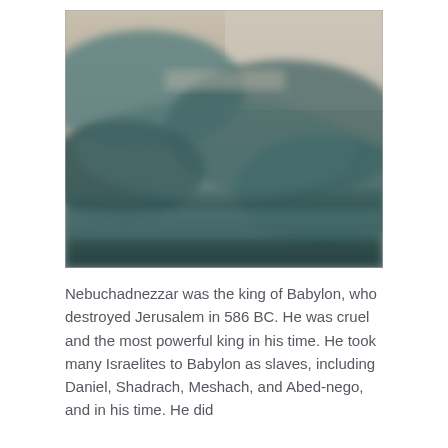[Figure (photo): A blurry, muted historical or landscape photograph with dark teal and beige tones, showing what appears to be ancient ruins or a cloudy landscape scene.]
Nebuchadnezzar was the king of Babylon, who destroyed Jerusalem in 586 BC. He was cruel and the most powerful king in his time. He took many Israelites to Babylon as slaves, including Daniel, Shadrach, Meshach, and Abed-nego, and in his time. He did